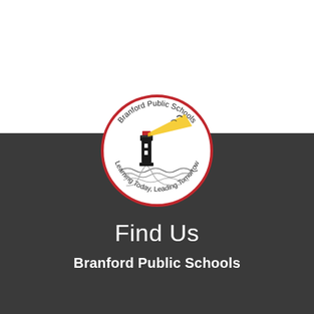[Figure (logo): Branford Public Schools circular logo with a lighthouse, beam of light, and waves. Text around the top reads 'Branford Public Schools' and around the bottom reads 'Learning Today, Leading Tomorrow'. Red border circle.]
Find Us
Branford Public Schools